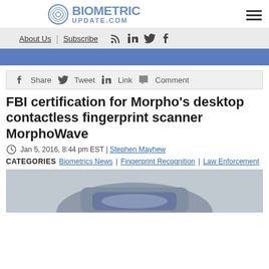BIOMETRIC UPDATE.COM
About Us | Subscribe
Share | Tweet | Link | Comment
FBI certification for Morpho's desktop contactless fingerprint scanner MorphoWave
Jan 5, 2016, 8:44 pm EST | Stephen Mayhew
CATEGORIES   Biometrics News | Fingerprint Recognition | Law Enforcement
[Figure (photo): Partial view of MorphoWave fingerprint scanner device at bottom of page]